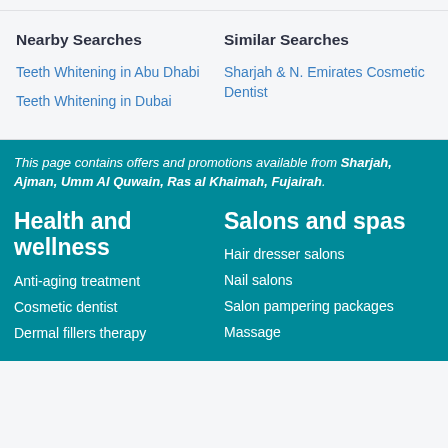Nearby Searches
Teeth Whitening in Abu Dhabi
Teeth Whitening in Dubai
Similar Searches
Sharjah & N. Emirates Cosmetic Dentist
This page contains offers and promotions available from Sharjah, Ajman, Umm Al Quwain, Ras al Khaimah, Fujairah.
Health and wellness
Anti-aging treatment
Cosmetic dentist
Dermal fillers therapy
Salons and spas
Hair dresser salons
Nail salons
Salon pampering packages
Massage